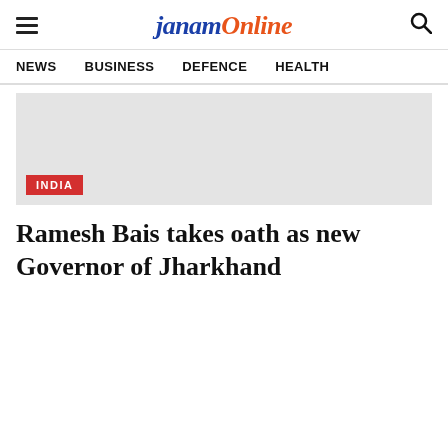JanamOnline
NEWS   BUSINESS   DEFENCE   HEALTH
[Figure (photo): Gray placeholder image with INDIA badge in bottom left corner]
Ramesh Bais takes oath as new Governor of Jharkhand